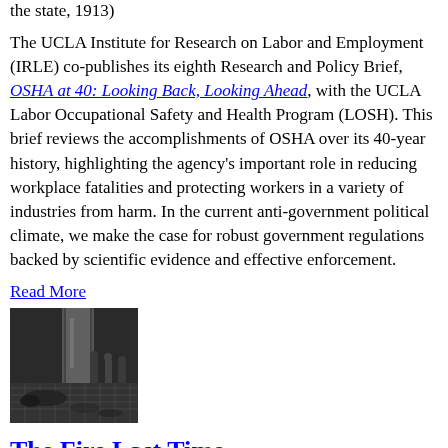the state, 1913)
The UCLA Institute for Research on Labor and Employment (IRLE) co-publishes its eighth Research and Policy Brief, OSHA at 40: Looking Back, Looking Ahead, with the UCLA Labor Occupational Safety and Health Program (LOSH). This brief reviews the accomplishments of OSHA over its 40-year history, highlighting the agency's important role in reducing workplace fatalities and protecting workers in a variety of industries from harm. In the current anti-government political climate, we make the case for robust government regulations backed by scientific evidence and effective enforcement.
Read More
[Figure (photo): Black and white photograph showing what appears to be aftermath of a fire or industrial accident scene with figures and debris visible]
The Fire Last Time
Posted On: March 12, 2011